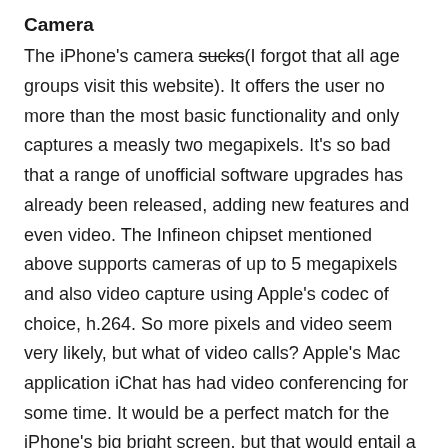Camera
The iPhone's camera sucks(I forgot that all age groups visit this website). It offers the user no more than the most basic functionality and only captures a measly two megapixels. It's so bad that a range of unofficial software upgrades has already been released, adding new features and even video. The Infineon chipset mentioned above supports cameras of up to 5 megapixels and also video capture using Apple's codec of choice, h.264. So more pixels and video seem very likely, but what of video calls? Apple's Mac application iChat has had video conferencing for some time. It would be a perfect match for the iPhone's big bright screen, but that would entail a second camera. I'd give this one a 50-50 chance.
Software
Software is arguably the most important part of the